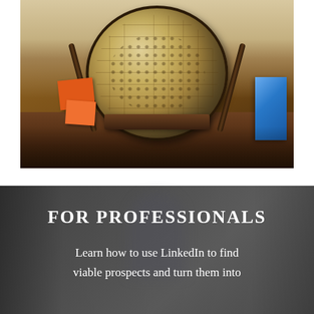[Figure (photo): A photograph of a decorative globe on a wooden stand placed on a dark wooden table, with orange sticky notes and a blue object visible in the background. The image is cropped showing mainly the globe and table surface.]
FOR PROFESSIONALS
Learn how to use LinkedIn to find viable prospects and turn them into